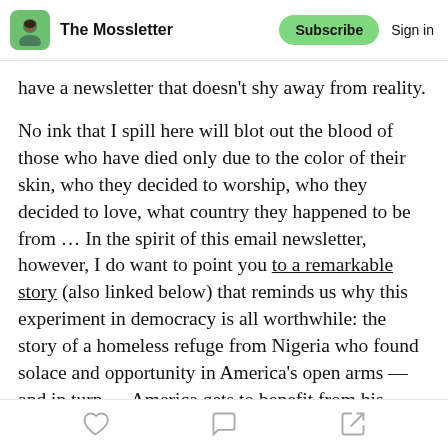The Mossletter | Subscribe | Sign in
have a newsletter that doesn't shy away from reality.
No ink that I spill here will blot out the blood of those who have died only due to the color of their skin, who they decided to worship, who they decided to love, what country they happened to be from … In the spirit of this email newsletter, however, I do want to point you to a remarkable story (also linked below) that reminds us why this experiment in democracy is all worthwhile: the story of a homeless refuge from Nigeria who found solace and opportunity in America's open arms — and in turn — America gets to benefit from his ingenuity and inspiration for years to come.